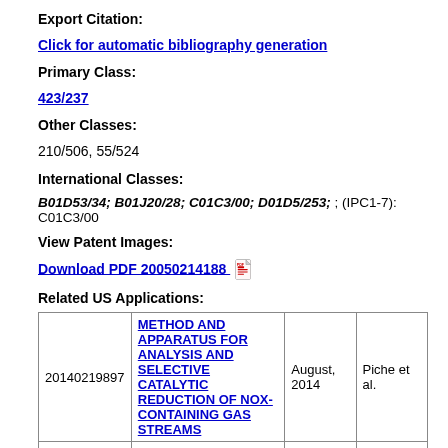Export Citation:
Click for automatic bibliography generation
Primary Class:
423/237
Other Classes:
210/506, 55/524
International Classes:
B01D53/34; B01J20/28; C01C3/00; D01D5/253; (IPC1-7): C01C3/00
View Patent Images:
Download PDF 20050214188
Related US Applications:
|  |  | August, 2014 | Piche et al. |
| --- | --- | --- | --- |
| 20140219897 | METHOD AND APPARATUS FOR ANALYSIS AND SELECTIVE CATALYTIC REDUCTION OF NOX-CONTAINING GAS STREAMS | August, 2014 | Piche et al. |